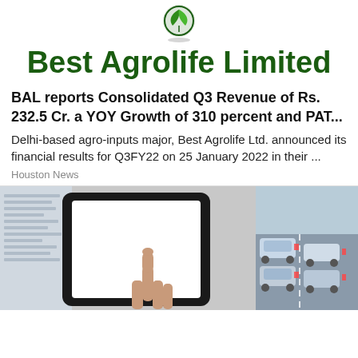[Figure (logo): Best Agrolife Limited logo with green leaf icon and bold dark green company name text]
BAL reports Consolidated Q3 Revenue of Rs. 232.5 Cr. a YOY Growth of 310 percent and PAT...
Delhi-based agro-inputs major, Best Agrolife Ltd. announced its financial results for Q3FY22 on 25 January 2022 in their ...
Houston News
[Figure (photo): Split image: left side shows a hand pointing at a tablet with blank white screen; right side shows a row of cars in a parking lot]